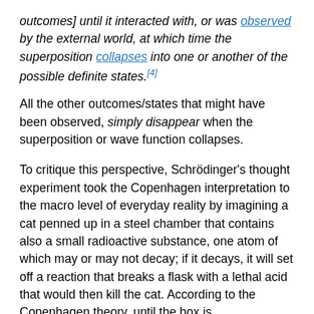outcomes] until it interacted with, or was observed by the external world, at which time the superposition collapses into one or another of the possible definite states.[4]
All the other outcomes/states that might have been observed, simply disappear when the superposition or wave function collapses.
To critique this perspective, Schrödinger's thought experiment took the Copenhagen interpretation to the macro level of everyday reality by imagining a cat penned up in a steel chamber that contains also a small radioactive substance, one atom of which may or may not decay; if it decays, it will set off a reaction that breaks a flask with a lethal acid that would then kill the cat. According to the Copenhagen theory, until the box is